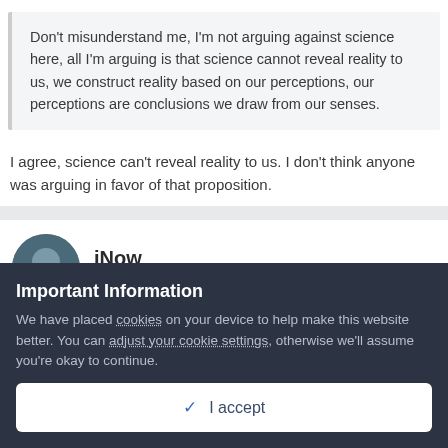Don't misunderstand me, I'm not arguing against science here, all I'm arguing is that science cannot reveal reality to us, we construct reality based on our perceptions, our perceptions are conclusions we draw from our senses.
I agree, science can't reveal reality to us. I don't think anyone was arguing in favor of that proposition.
iNow
Posted July 6, 2021
Important Information
We have placed cookies on your device to help make this website better. You can adjust your cookie settings, otherwise we'll assume you're okay to continue.
✓ I accept